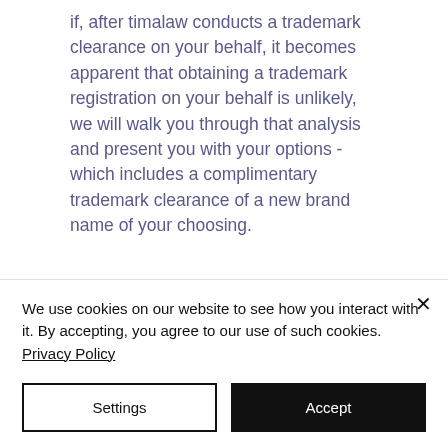if, after timalaw conducts a trademark clearance on your behalf, it becomes apparent that obtaining a trademark registration on your behalf is unlikely, we will walk you through that analysis and present you with your options - which includes a complimentary trademark clearance of a new brand name of your choosing.
We use cookies on our website to see how you interact with it. By accepting, you agree to our use of such cookies. Privacy Policy